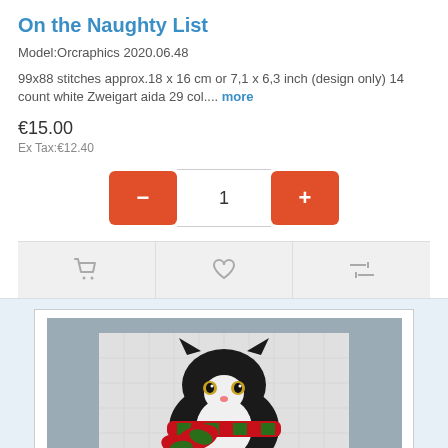On the Naughty List
Model:Orcraphics 2020.06.48
99x88 stitches approx.18 x 16 cm or 7,1 x 6,3 inch (design only) 14 count white Zweigart aida 29 col.... more
€15.00
Ex Tax:€12.40
[Figure (screenshot): Quantity selector with minus and plus buttons in orange-red, showing value 1]
[Figure (illustration): Product page action bar with cart, heart/wishlist, and compare icons]
[Figure (photo): Cross stitch pattern image of a black and white cat wearing a red and green Christmas scarf, displayed in a gray frame on white background]